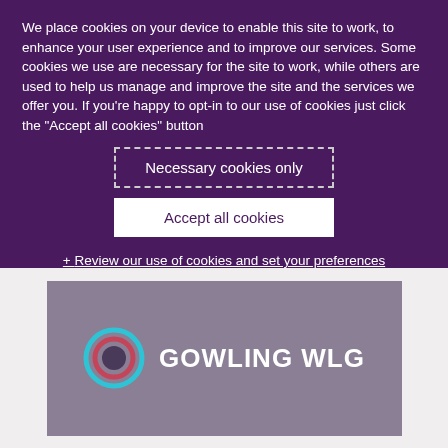We place cookies on your device to enable this site to work, to enhance your user experience and to improve our services. Some cookies we use are necessary for the site to work, while others are used to help us manage and improve the site and the services we offer you. If you're happy to opt-in to our use of cookies just click the "Accept all cookies" button
Necessary cookies only
Accept all cookies
+ Review our use of cookies and set your preferences
[Figure (logo): Gowling WLG logo — circular ring icon in cyan and pink/red on a muted purple-grey background, with white bold text 'GOWLING WLG']